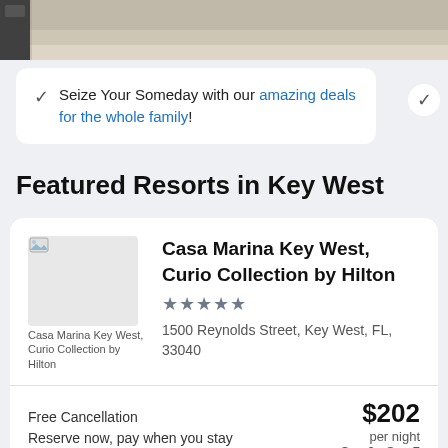[Figure (photo): Top portion of a hotel room photo showing a bed and floor, partially cropped]
Seize Your Someday with our amazing deals for the whole family!
Featured Resorts in Key West
[Figure (photo): Hotel thumbnail image for Casa Marina Key West, Curio Collection by Hilton]
Casa Marina Key West, Curio Collection by Hilton
★★★★★
1500 Reynolds Street, Key West, FL, 33040
Free Cancellation
Reserve now, pay when you stay
$202 per night
Sep 6 - Sep 7
This luxury resort features a private beach, a full-service spa,